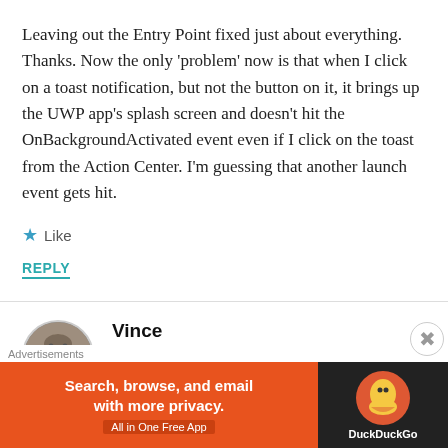Leaving out the Entry Point fixed just about everything. Thanks. Now the only ‘problem’ now is that when I click on a toast notification, but not the button on it, it brings up the UWP app’s splash screen and doesn’t hit the OnBackgroundActivated event even if I click on the toast from the Action Center. I’m guessing that another launch event gets hit.
★ Like
REPLY
Vince
October 18, 2018 at 2:01 pm
[Figure (other): DuckDuckGo advertisement banner: orange background with text 'Search, browse, and email with more privacy. All in One Free App' and DuckDuckGo logo on dark background.]